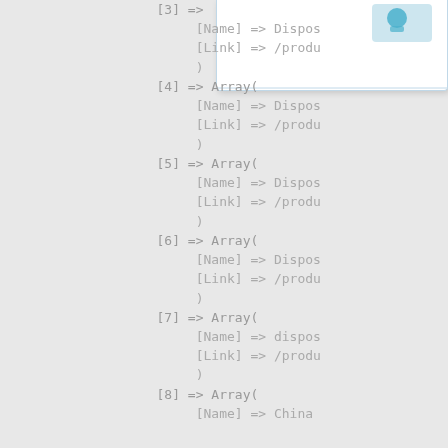[Figure (screenshot): Popup/tooltip box with a blue icon visible in the upper right corner of the page, showing a white dropdown panel with light blue border.]
[3] =>
    [Name] => Dispos
    [Link] => /produ
    )
[4] => Array(
    [Name] => Dispos
    [Link] => /produ
    )
[5] => Array(
    [Name] => Dispos
    [Link] => /produ
    )
[6] => Array(
    [Name] => Dispos
    [Link] => /produ
    )
[7] => Array(
    [Name] => dispos
    [Link] => /produ
    )
[8] => Array(
    [Name] => China